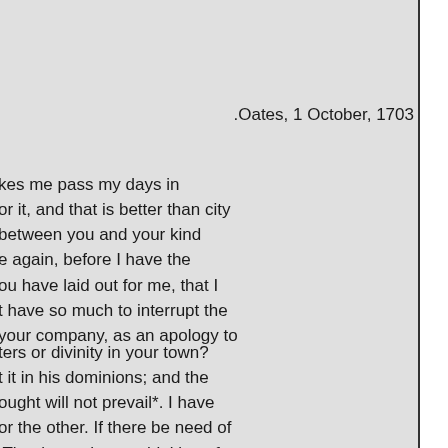.Oates, 1 October, 1703
kes me pass my days in
or it, and that is better than city
between you and your kind
e again, before I have the
ou have laid out for me, that I
t have so much to interrupt the
your company, as an apology to
ters or divinity in your town?
t it in his dominions; and the
ought will not prevail*. I have
or the other. If there be need of
That is worth your thinking of,
e Mr. Le Clerc a écrit dans *
7, in 8vo. page 70 et suiv
» السابقة